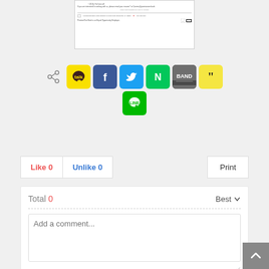[Figure (screenshot): Screenshot of a bank document or advertisement from PromiseOne Bank, with address, phone number, and FDIC logo at the bottom.]
[Figure (infographic): Social sharing icons row: share icon, KakaoTalk (yellow), Facebook (blue), Twitter (cyan), Naver (green), Band (grey), Quote (yellow), and below Line (green).]
Like 0   Unlike 0   Print
Total 0   Best ▾
Add a comment...